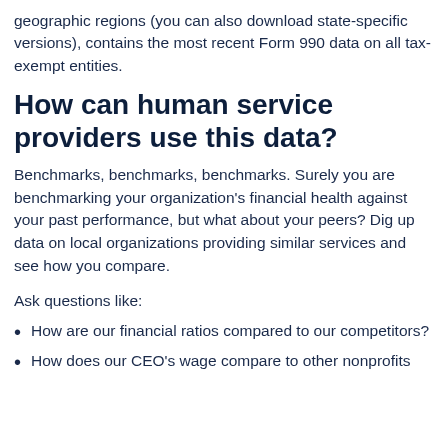geographic regions (you can also download state-specific versions), contains the most recent Form 990 data on all tax-exempt entities.
How can human service providers use this data?
Benchmarks, benchmarks, benchmarks. Surely you are benchmarking your organization's financial health against your past performance, but what about your peers? Dig up data on local organizations providing similar services and see how you compare.
Ask questions like:
How are our financial ratios compared to our competitors?
How does our CEO's wage compare to other nonprofits